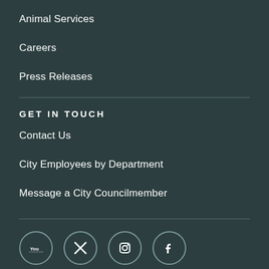Animal Services
Careers
Press Releases
GET IN TOUCH
Contact Us
City Employees by Department
Message a City Councilmember
[Figure (illustration): Social media icons: YouTube, Twitter/X, Instagram, Facebook — circular outlined buttons]